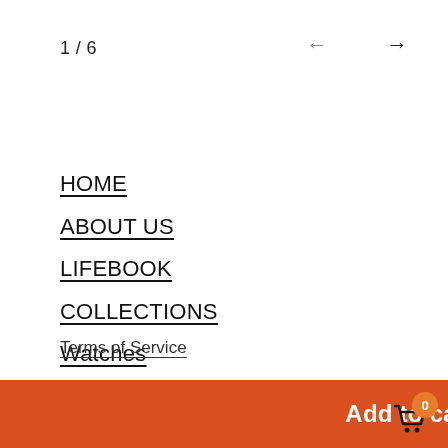1 / 6
HOME
ABOUT US
LIFEBOOK
COLLECTIONS
Watches
TEXTILE
Terms of Service
Add to cart